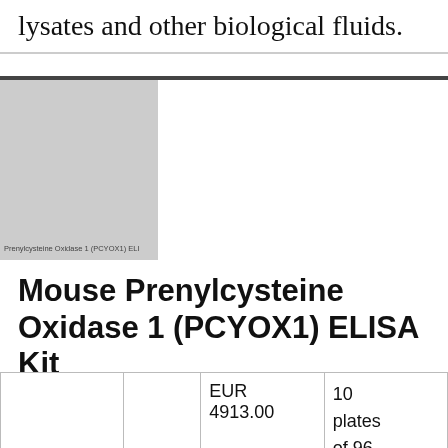lysates and other biological fluids.
[Figure (photo): Product image placeholder for Mouse Prenylcysteine Oxidase 1 (PCYOX1) ELISA Kit]
Mouse Prenylcysteine Oxidase 1 (PCYOX1) ELISA Kit
|  |  | EUR 4913.00 | 10 plates of 96 wells 5 |
| --- | --- | --- | --- |
|   |   | EUR
4913.00 | 10
plates
of 96
wells
5 |